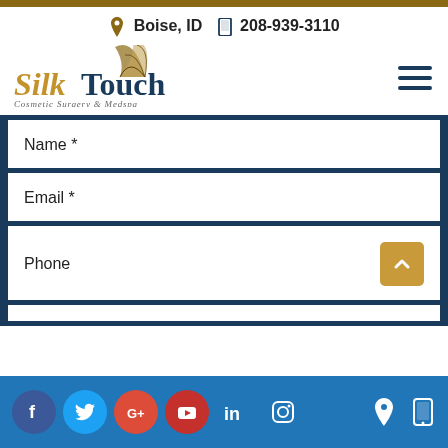[Figure (logo): Silk Touch Cosmetic Surgery & Medspa logo with decorative feather/leaf graphic]
Boise, ID  208-939-3110
Name *
Email *
Phone
[Figure (screenshot): Footer bar with social media icons: Facebook, Twitter, Google+, YouTube, LinkedIn, Instagram, plus location and phone icons on right]